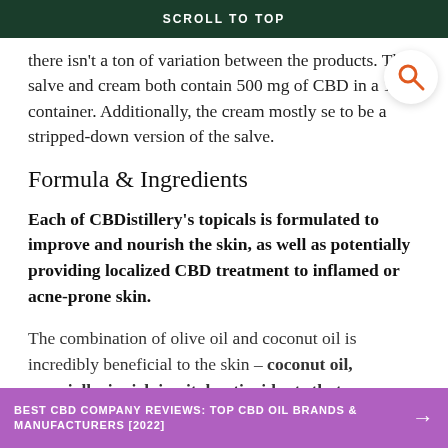SCROLL TO TOP
there isn't a ton of variation between the products. The salve and cream both contain 500 mg of CBD in a 1 oz container. Additionally, the cream mostly seems to be a stripped-down version of the salve.
Formula & Ingredients
Each of CBDistillery's topicals is formulated to improve and nourish the skin, as well as potentially providing localized CBD treatment to inflamed or acne-prone skin.
The combination of olive oil and coconut oil is incredibly beneficial to the skin – coconut oil, especially, is rich in vital antioxidants that
BEST CBD COMPANY REVIEWS: TOP CBD OIL BRANDS & MANUFACTURERS [2022]